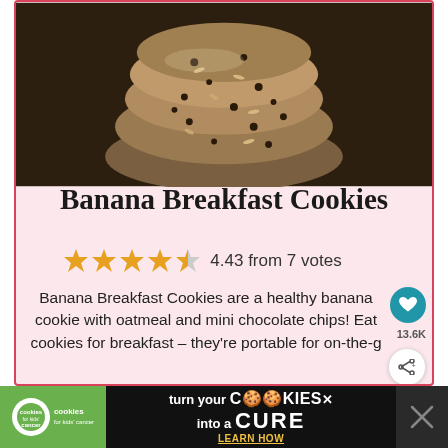[Figure (photo): Stack of banana breakfast cookies with oatmeal and chocolate chips on dark background]
Banana Breakfast Cookies
4.43 from 7 votes
Banana Breakfast Cookies are a healthy banana cookie with oatmeal and mini chocolate chips! Eat cookies for breakfast – they're portable for on-the-g
13.6K
PREP TIME
10 minutes
COOK TIME
15 minutes
WHAT'S NEXT → Banana Chocolate...
TOTAL TIME
[Figure (photo): Advertisement banner: cookies for kids cancer – turn your cookies into a cure learn how]
turn your COOKIES into a CURE LEARN HOW